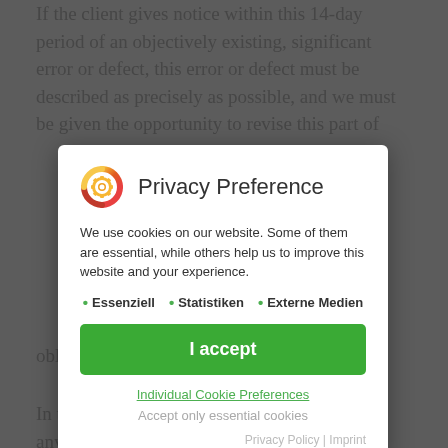If the client gives notice within this 14-day period of an objectively existing, significant error or defect, this error or defect must be described as precisely as possible, and we must be given the opportunity to revise this part of
[Figure (screenshot): Privacy Preference modal dialog overlay with cookie consent options including Essenziell, Statistiken, Externe Medien, I accept button, Individual Cookie Preferences link, Accept only essential cookies link, and Privacy Policy | Imprint footer links]
obligations have been breached.
In the event of damage claims by third parties, any right